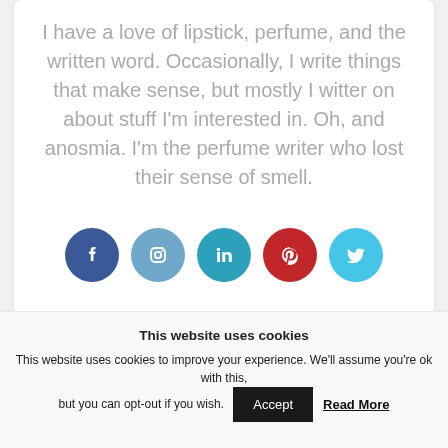I have a love of lipstick, perfume, and the written word. Occasionally, I write things that make sense, but mostly I witter on about stuff I'm interested in. Oh, and anosmia. I'm the perfume writer who lost their sense of smell.
[Figure (infographic): Five social media icon buttons in circles: Facebook (dark blue), Instagram (medium blue), LinkedIn (teal blue), Pinterest (red), Twitter (light blue)]
This website uses cookies
This website uses cookies to improve your experience. We'll assume you're ok with this, but you can opt-out if you wish.